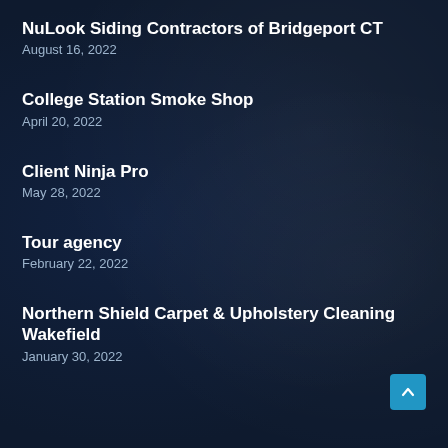NuLook Siding Contractors of Bridgeport CT
August 16, 2022
College Station Smoke Shop
April 20, 2022
Client Ninja Pro
May 28, 2022
Tour agency
February 22, 2022
Northern Shield Carpet & Upholstery Cleaning Wakefield
January 30, 2022